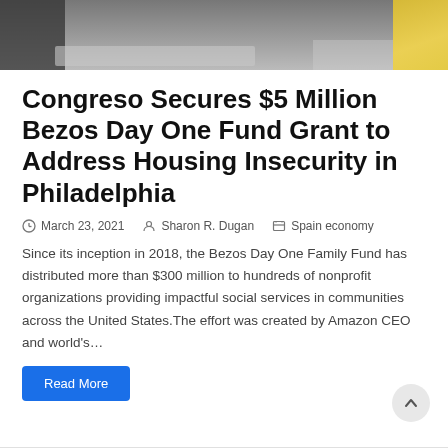[Figure (photo): Top portion of a photo showing people on a street/pavement, partially cropped. Dark clothing visible on the left, yellow road markings on the right.]
Congreso Secures $5 Million Bezos Day One Fund Grant to Address Housing Insecurity in Philadelphia
March 23, 2021   Sharon R. Dugan   Spain economy
Since its inception in 2018, the Bezos Day One Family Fund has distributed more than $300 million to hundreds of nonprofit organizations providing impactful social services in communities across the United States.The effort was created by Amazon CEO and world's…
Read More